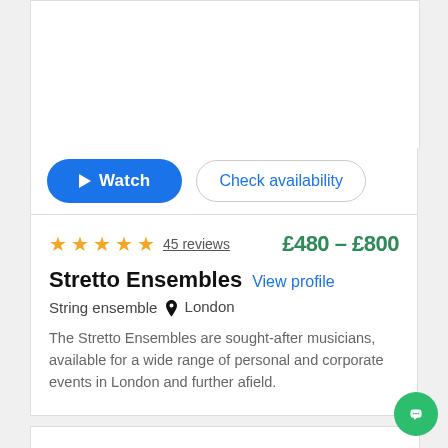[Figure (screenshot): Watch button (blue pill-shaped) and Check availability button (outlined pill-shaped)]
★★★★★ 45 reviews   £480 - £800
Stretto Ensembles
View profile
String ensemble  📍 London
The Stretto Ensembles are sought-after musicians, available for a wide range of personal and corporate events in London and further afield.